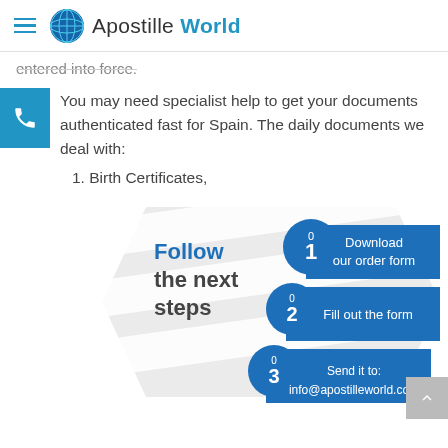Apostille World
entered into force.
You may need specialist help to get your documents authenticated fast for Spain. The daily documents we deal with:
1. Birth Certificates,
[Figure (infographic): Step-by-step infographic with three steps: 01 Download our order form, 02 Fill out the form, 03 Send it to: info@apostilleworld.com. Title says 'Follow the next steps'.]